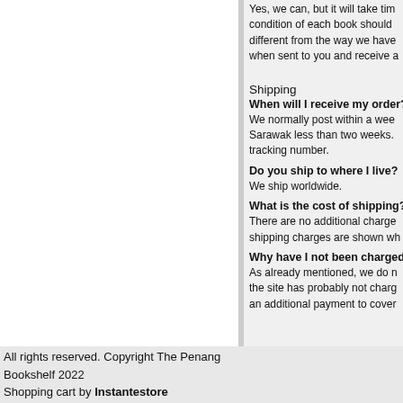Yes, we can, but it will take tim... condition of each book should different from the way we have when sent to you and receive a
Shipping
When will I receive my order?
We normally post within a week... Sarawak less than two weeks. tracking number.
Do you ship to where I live?
We ship worldwide.
What is the cost of shipping?
There are no additional charge... shipping charges are shown wh
Why have I not been charged...
As already mentioned, we do n... the site has probably not charg... an additional payment to cover
All rights reserved. Copyright The Penang Bookshelf 2022
Shopping cart by Instantestore